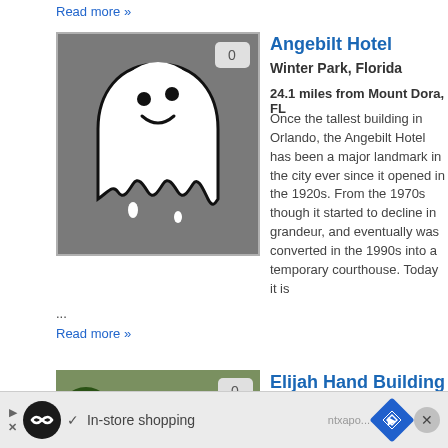Read more »
Angebilt Hotel
Winter Park, Florida
24.1 miles from Mount Dora, FL
Once the tallest building in Orlando, the Angebilt Hotel has been a major landmark in the city ever since it opened in the 1920s. From the 1970s though it started to decline in grandeur, and eventually was converted in the 1990s into a temporary courthouse. Today it is ...
[Figure (illustration): Ghost cartoon illustration on grey background with badge showing 0]
Read more »
Elijah Hand Building
Orlando, Florida
24.1 miles from Mount Dora, FL
Elijah Hand was an undertaker and furniture-maker from Indiana who moved to Orlando in...
[Figure (photo): Photo of a red brick building with trees, badge showing 0]
In-store shopping